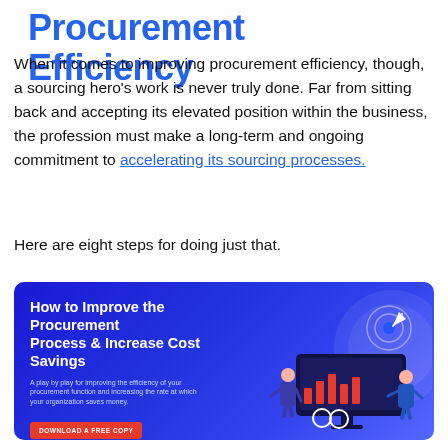Procurement Efficiency
When it comes to improving procurement efficiency, though, a sourcing hero's work is never truly done. Far from sitting back and accepting its elevated position within the business, the profession must make a long-term and ongoing commitment to accelerating its sourcing processes.
Here are eight steps for doing just that.
[Figure (infographic): Blue banner ad titled 'How to Improve the Procurement Process & Increase Cost Savings' with subtitle text, a red Download a Free Copy button, and an illustration of a person at a computer monitor with charts on the right side.]